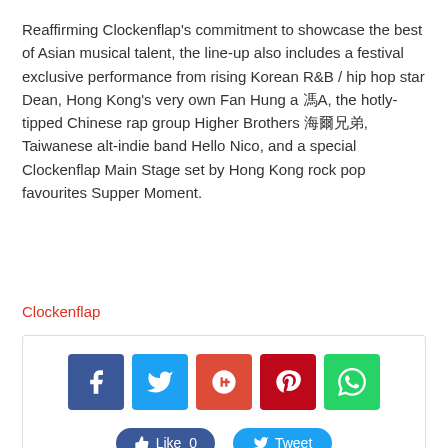Reaffirming Clockenflap's commitment to showcase the best of Asian musical talent, the line-up also includes a festival exclusive performance from rising Korean R&B / hip hop star Dean, Hong Kong's very own Fan Hung a 馮A, the hotly-tipped Chinese rap group Higher Brothers 海爾兄弟, Taiwanese alt-indie band Hello Nico, and a special Clockenflap Main Stage set by Hong Kong rock pop favourites Supper Moment.
Clockenflap
[Figure (other): Social media share buttons: Facebook, Twitter, Google+, Pinterest, WhatsApp, and Like/Tweet action buttons]